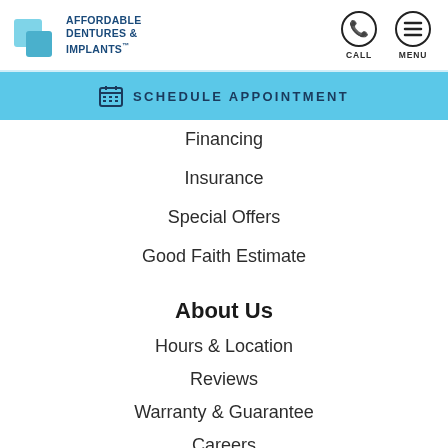[Figure (logo): Affordable Dentures & Implants logo with two overlapping tooth/square icons in light blue]
CALL  MENU
SCHEDULE APPOINTMENT
Financing
Insurance
Special Offers
Good Faith Estimate
About Us
Hours & Location
Reviews
Warranty & Guarantee
Careers
Contact Us